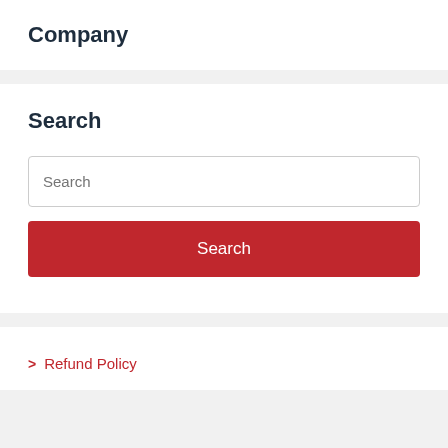Company
Search
Search
Search
> Refund Policy